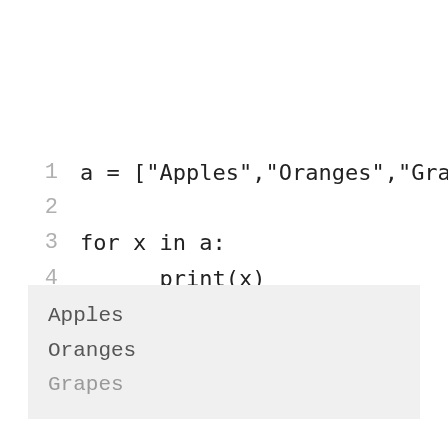1  a = ["Apples","Oranges","Grapes'
2
3  for x in a:
4        print(x)
Apples
Oranges
Grapes